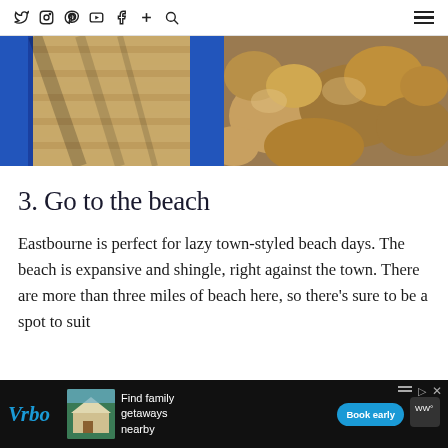social icons and menu
[Figure (photo): Wooden boardwalk with blue railings casting shadows in sunlight]
[Figure (photo): Large smooth rocks/boulders on a beach, golden and brown tones]
3. Go to the beach
Eastbourne is perfect for lazy town-styled beach days. The beach is expansive and shingle, right against the town. There are more than three miles of beach here, so there's sure to be a spot to suit
[Figure (screenshot): Vrbo advertisement banner: Find family getaways nearby, Book early button]